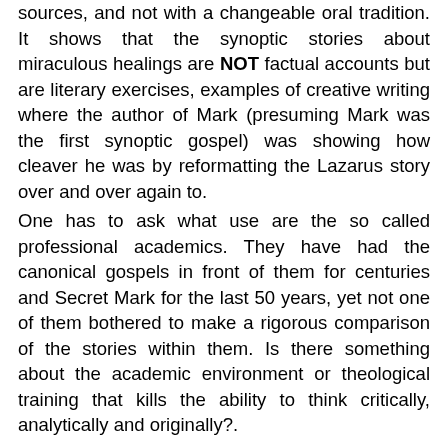sources, and not with a changeable oral tradition. It shows that the synoptic stories about miraculous healings are NOT factual accounts but are literary exercises, examples of creative writing where the author of Mark (presuming Mark was the first synoptic gospel) was showing how cleaver he was by reformatting the Lazarus story over and over again to. One has to ask what use are the so called professional academics. They have had the canonical gospels in front of them for centuries and Secret Mark for the last 50 years, yet not one of them bothered to make a rigorous comparison of the stories within them. Is there something about the academic environment or theological training that kills the ability to think critically, analytically and originally?. Perhaps university theology departments should be shut down, their faculty put to work doing something useful like flipping burgers, and the study of their texts handed over to the folklorists